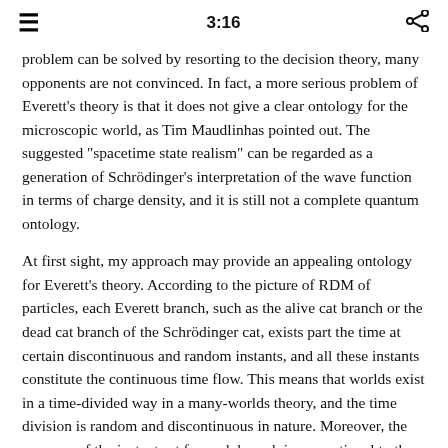3:16
problem can be solved by resorting to the decision theory, many opponents are not convinced. In fact, a more serious problem of Everett's theory is that it does not give a clear ontology for the microscopic world, as Tim Maudlinhas pointed out. The suggested "spacetime state realism" can be regarded as a generation of Schrödinger's interpretation of the wave function in terms of charge density, and it is still not a complete quantum ontology.
At first sight, my approach may provide an appealing ontology for Everett's theory. According to the picture of RDM of particles, each Everett branch, such as the alive cat branch or the dead cat branch of the Schrödinger cat, exists part the time at certain discontinuous and random instants, and all these instants constitute the continuous time flow. This means that worlds exist in a time-divided way in a many-worlds theory, and the time division is random and discontinuous in nature. Moreover, the measure of the instant set for each branch is proportional to the square of